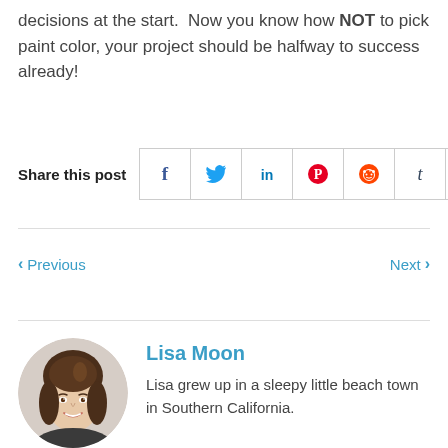decisions at the start.  Now you know how NOT to pick paint color, your project should be halfway to success already!
Share this post
◀ Previous
Next ▶
Lisa Moon
Lisa grew up in a sleepy little beach town in Southern California.
[Figure (photo): Portrait photo of Lisa Moon, a woman with brown hair, smiling]